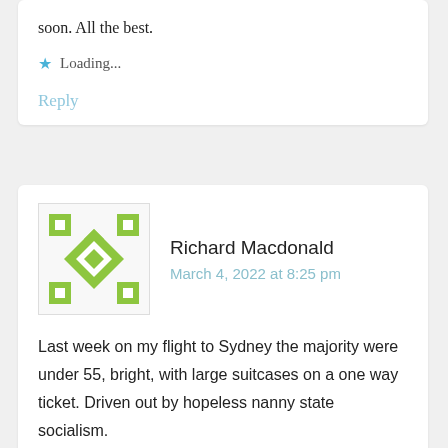soon. All the best.
Loading...
Reply
Richard Macdonald
March 4, 2022 at 8:25 pm
[Figure (illustration): Green geometric avatar/identicon pattern for Richard Macdonald]
Last week on my flight to Sydney the majority were under 55, bright, with large suitcases on a one way ticket. Driven out by hopeless nanny state socialism.
Loading...